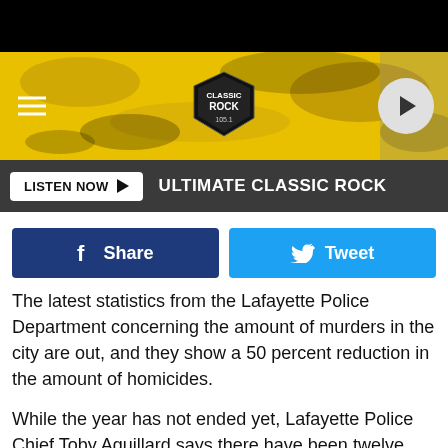[Figure (screenshot): Black top bar]
[Figure (screenshot): Classic Rock 105.1 yellow banner with logo, hamburger menu, and play button]
[Figure (screenshot): Listen Now bar with ULTIMATE CLASSIC ROCK label]
[Figure (screenshot): Facebook Share and Twitter Tweet social buttons]
The latest statistics from the Lafayette Police Department concerning the amount of murders in the city are out, and they show a 50 percent reduction in the amount of homicides.
While the year has not ended yet, Lafayette Police Chief Toby Aguillard says there have been twelve homicides this year, and eleven of the cases have been solved.
Last year, there were twenty-four homicides.